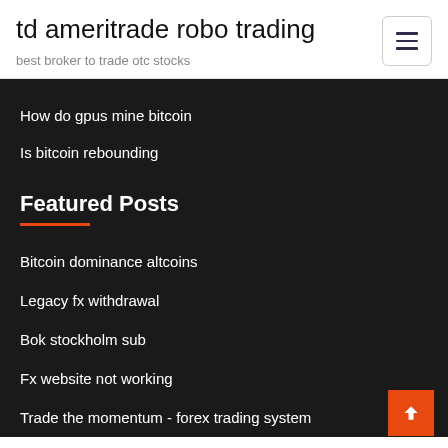td ameritrade robo trading
best broker to trade otc stocks
How do gpus mine bitcoin
Is bitcoin rebounding
Featured Posts
Bitcoin dominance altcoins
Legacy fx withdrawal
Bok stockholm sub
Fx website not working
Trade the momentum - forex trading system